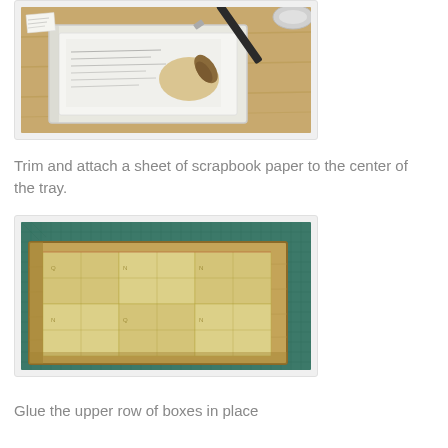[Figure (photo): A white rectangular tray on a wooden surface being painted with a brush, with some handwritten paper visible inside the tray.]
Trim and attach a sheet of scrapbook paper to the center of the tray.
[Figure (photo): A wooden tray or box with decorative scrapbook paper showing geometric/quilt-like patterns attached to it, placed on a green cutting mat.]
Glue the upper row of boxes in place